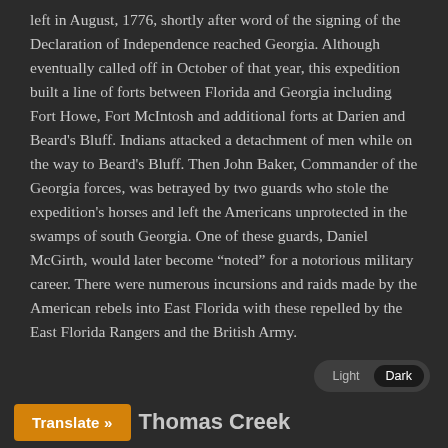left in August, 1776, shortly after word of the signing of the Declaration of Independence reached Georgia. Although eventually called off in October of that year, this expedition built a line of forts between Florida and Georgia including Fort Howe, Fort McIntosh and additional forts at Darien and Beard's Bluff. Indians attacked a detachment of men while on the way to Beard's Bluff. Then John Baker, Commander of the Georgia forces, was betrayed by two guards who stole the expedition's horses and left the Americans unprotected in the swamps of south Georgia. One of these guards, Daniel McGirth, would later become “noted” for a notorious military career. There were numerous incursions and raids made by the American rebels into East Florida with these repelled by the East Florida Rangers and the British Army.
Thomas Creek